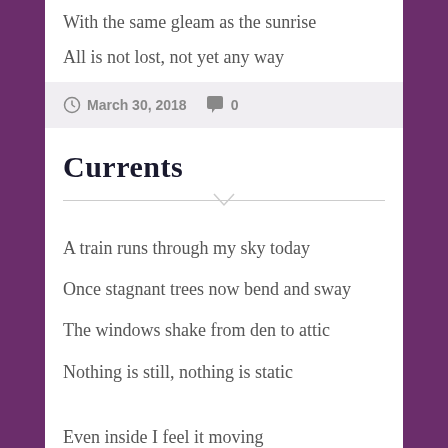With the same gleam as the sunrise
All is not lost, not yet any way
March 30, 2018   0
Currents
A train runs through my sky today
Once stagnant trees now bend and sway
The windows shake from den to attic
Nothing is still, nothing is static
Even inside I feel it moving